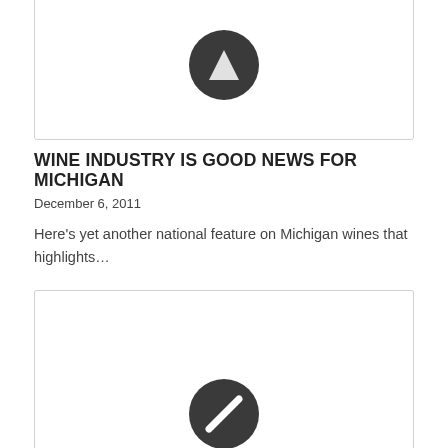[Figure (illustration): Placeholder image card with a dark circular icon/logo at top, partially cropped at the top of the page]
WINE INDUSTRY IS GOOD NEWS FOR MICHIGAN
December 6, 2011
Here's yet another national feature on Michigan wines that highlights...
[Figure (illustration): Placeholder image card with a dark circular icon/logo at bottom, partially cropped at the bottom of the page]